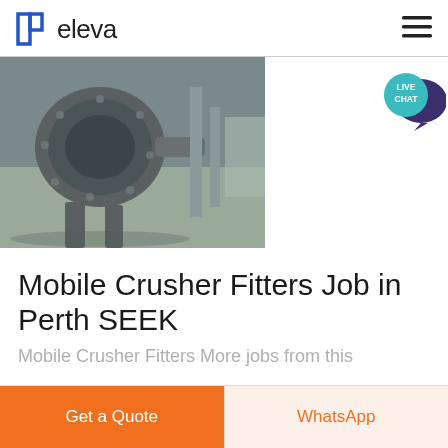eleva
[Figure (photo): Industrial machine (mobile crusher) in a factory setting, grey heavy machinery with drum and arms visible]
Mobile Crusher Fitters Job in Perth SEEK
Mobile Crusher Fitters More jobs from this
Get a Quote
WhatsApp